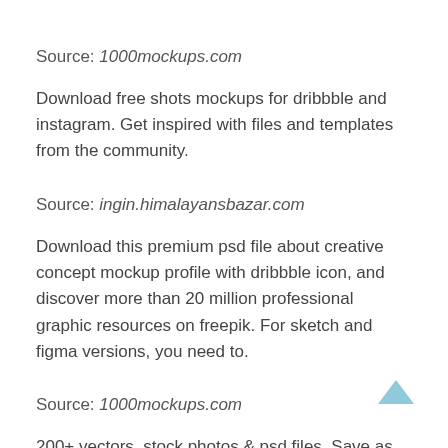Source: 1000mockups.com
Download free shots mockups for dribbble and instagram. Get inspired with files and templates from the community.
Source: ingin.himalayansbazar.com
Download this premium psd file about creative concept mockup profile with dribbble icon, and discover more than 20 million professional graphic resources on freepik. For sketch and figma versions, you need to.
Source: 1000mockups.com
200+ vectors, stock photos & psd files. Save as gif or